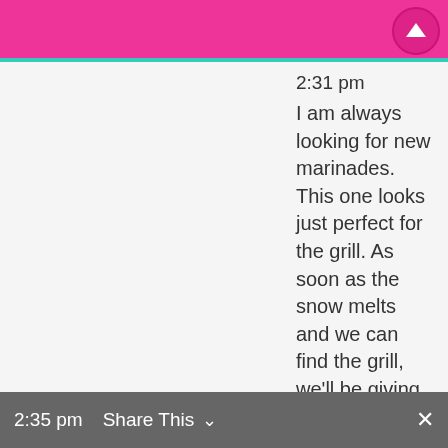2:31 pm
I am always looking for new marinades. This one looks just perfect for the grill. As soon as the snow melts and we can find the grill, we'll be giving it a try.

Hope the unpacking is going well and you're getting settled in! Hugs!
REPLY
Amanda @ Serenity Now
on February 8, 2011 at
2:35 pm  Share This  ×